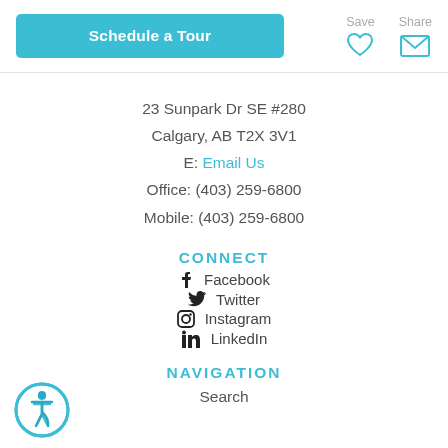Schedule a Tour
Save
Share
23 Sunpark Dr SE #280
Calgary, AB T2X 3V1
E: Email Us
Office: (403) 259-6800
Mobile: (403) 259-6800
CONNECT
Facebook
Twitter
Instagram
LinkedIn
NAVIGATION
Search